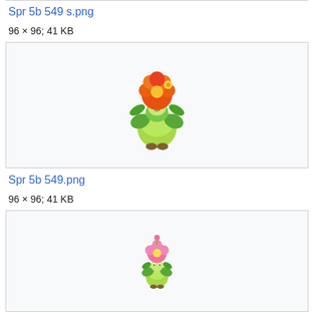Spr 5b 549 s.png
96 × 96; 41 KB
[Figure (illustration): Pixel art sprite of a flower Pokemon (shiny Lilligant) with orange/red flowers on top, green leafy body, light green bulbous lower body, from Pokemon Black/White Generation 5]
Spr 5b 549.png
96 × 96; 41 KB
[Figure (illustration): Pixel art sprite of a small flower Pokemon (Lilligant) with pink flower on top, small green/yellow body, from Pokemon Black/White Generation 5]